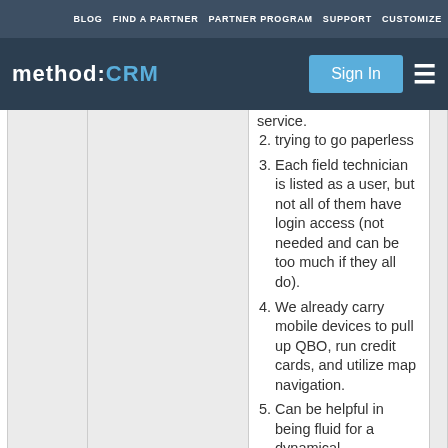BLOG  FIND A PARTNER  PARTNER PROGRAM  SUPPORT  CUSTOMIZE
[Figure (logo): method:CRM logo with Sign In button and hamburger menu on dark navy background]
service.
trying to go paperless
Each field technician is listed as a user, but not all of them have login access (not needed and can be too much if they all do).
We already carry mobile devices to pull up QBO, run credit cards, and utilize map navigation.
Can be helpful in being fluid for a dynamical